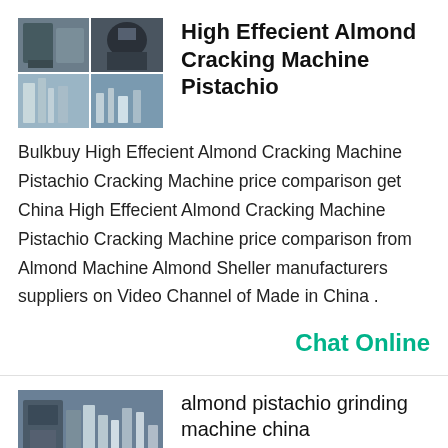[Figure (photo): Collage of industrial almond cracking machine images]
High Effecient Almond Cracking Machine Pistachio
Bulkbuy High Effecient Almond Cracking Machine Pistachio Cracking Machine price comparison get China High Effecient Almond Cracking Machine Pistachio Cracking Machine price comparison from Almond Machine Almond Sheller manufacturers suppliers on Video Channel of Made in China .
Chat Online
[Figure (photo): Industrial almond pistachio grinding machine]
almond pistachio grinding machine china